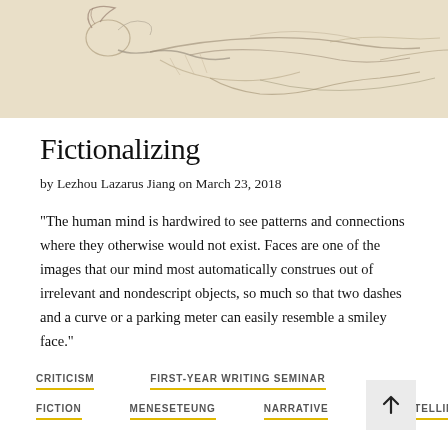[Figure (illustration): A pencil sketch drawing of a reclining human figure, drawn in a loose gestural style on a beige/cream background.]
Fictionalizing
by Lezhou Lazarus Jiang on March 23, 2018
"The human mind is hardwired to see patterns and connections where they otherwise would not exist. Faces are one of the images that our mind most automatically construes out of irrelevant and nondescript objects, so much so that two dashes and a curve or a parking meter can easily resemble a smiley face."
CRITICISM
FIRST-YEAR WRITING SEMINAR
FICTION
MENESETEUNG
NARRATIVE
STORYTELLING